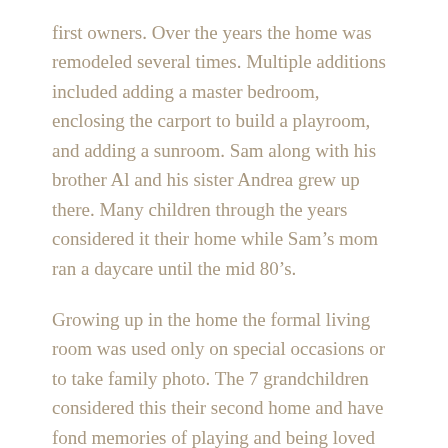first owners. Over the years the home was remodeled several times. Multiple additions included adding a master bedroom, enclosing the carport to build a playroom, and adding a sunroom. Sam along with his brother Al and his sister Andrea grew up there. Many children through the years considered it their home while Sam's mom ran a daycare until the mid 80's.
Growing up in the home the formal living room was used only on special occasions or to take family photo. The 7 grandchildren considered this their second home and have fond memories of playing and being loved there.
After Sam's mother's death, his father continued to live in the house and host weekly Sunday Dinner for the family. After his dad's death the